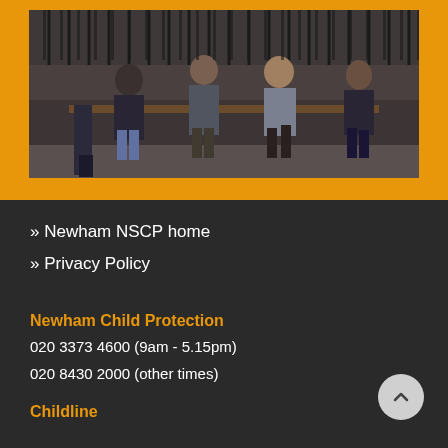[Figure (photo): Group of young people sitting on a bench outdoors, with a metal fence in the background. Black and white/dark toned photograph.]
» Newham NSCP home
» Privacy Policy
Newham Child Protection
020 3373 4600 (9am - 5.15pm)
020 8430 2000 (other times)
Childline